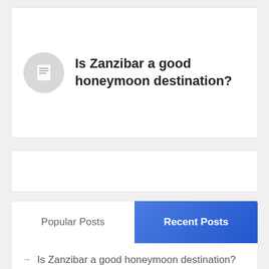Is Zanzibar a good honeymoon destination?
Popular Posts
Recent Posts
Is Zanzibar a good honeymoon destination?
How to Get Tanzania and Zanzibar Visas (Guide)
Are Tanzania and Zanzibar safe for tourists?